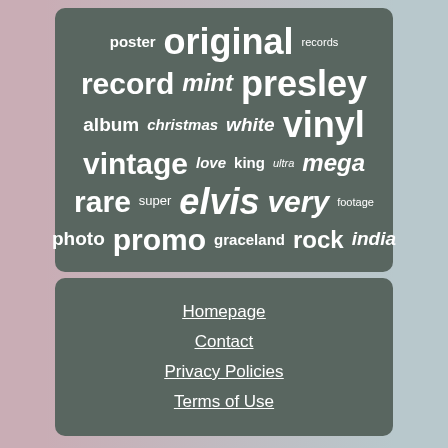[Figure (infographic): Word cloud / tag cloud with Elvis-related keywords in white text on a dark teal-grey rounded rectangle background. Words vary in size indicating frequency/importance. Words include: original, poster, records, record, mint, presley, album, christmas, white, vinyl, vintage, love, king, ultra, mega, rare, super, elvis, very, footage, photo, promo, graceland, rock, india]
Homepage
Contact
Privacy Policies
Terms of Use